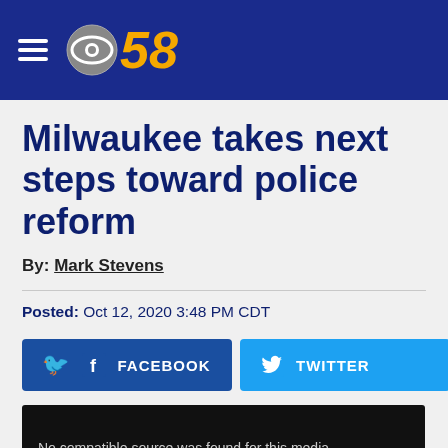CBS 58
Milwaukee takes next steps toward police reform
By: Mark Stevens
Posted: Oct 12, 2020 3:48 PM CDT
[Figure (screenshot): Social media share buttons: Facebook, Twitter, and email (@)]
[Figure (other): Video player showing: No compatible source was found for this media.]